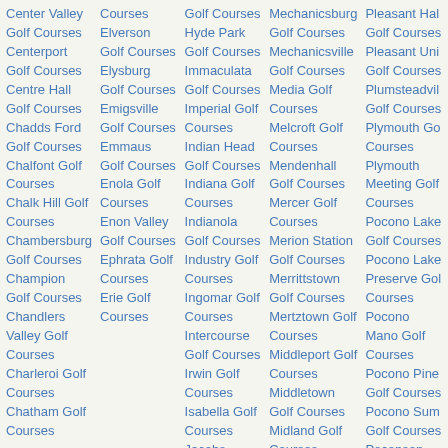Center Valley Golf Courses
Centerport Golf Courses
Centre Hall Golf Courses
Chadds Ford Golf Courses
Chalfont Golf Courses
Chalk Hill Golf Courses
Chambersburg Golf Courses
Champion Golf Courses
Chandlers Valley Golf Courses
Charleroi Golf Courses
Chatham Golf Courses
Courses
Elverson Golf Courses
Elysburg Golf Courses
Emigsville Golf Courses
Emmaus Golf Courses
Enola Golf Courses
Enon Valley Golf Courses
Ephrata Golf Courses
Erie Golf Courses
Golf Courses
Hyde Park Golf Courses
Immaculata Golf Courses
Imperial Golf Courses
Indian Head Golf Courses
Indiana Golf Courses
Indianola Golf Courses
Industry Golf Courses
Ingomar Golf Courses
Intercourse Golf Courses
Irwin Golf Courses
Isabella Golf Courses
Jacobs Creek Golf Courses
Mechanicsburg Golf Courses
Mechanicsville Golf Courses
Media Golf Courses
Melcroft Golf Courses
Mendenhall Golf Courses
Mercer Golf Courses
Merion Station Golf Courses
Merrittstown Golf Courses
Mertztown Golf Courses
Middleport Golf Courses
Middletown Golf Courses
Midland Golf Courses
Midway Golf Courses
Mifflinville Golf
Pleasant Hall Golf Courses
Pleasant Unity Golf Courses
Plumsteadville Golf Courses
Plymouth Golf Courses
Plymouth Meeting Golf Courses
Pocono Lake Golf Courses
Pocono Lake Preserve Golf Courses
Pocono Manor Golf Courses
Pocono Pines Golf Courses
Pocono Summit Golf Courses
Pocopson Golf Courses
Pomeroy Golf Courses